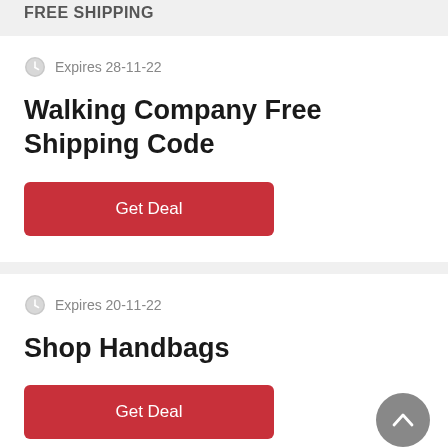FREE SHIPPING
Expires 28-11-22
Walking Company Free Shipping Code
Get Deal
Expires 20-11-22
Shop Handbags
Get Deal